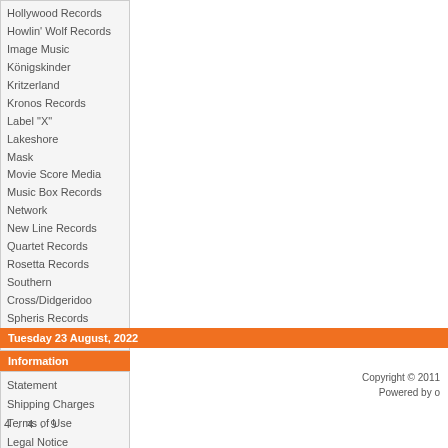Hollywood Records
Howlin' Wolf Records
Image Music
Königskinder
Kritzerland
Kronos Records
Label "X"
Lakeshore
Mask
Movie Score Media
Music Box Records
Network
New Line Records
Quartet Records
Rosetta Records
Southern
Cross/Didgeridoo
Spheris Records
Trunk Records
Information
Statement
Shipping Charges
Terms of Use
Legal Notice
Contact Us
Tuesday 23 August, 2022
Copyright © 2011
Powered by o
4 . 4 . 9